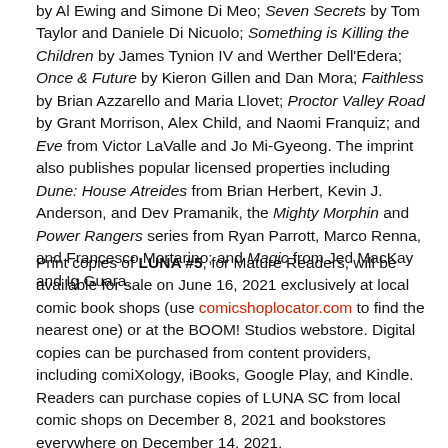by Al Ewing and Simone Di Meo; Seven Secrets by Tom Taylor and Daniele Di Nicuolo; Something is Killing the Children by James Tynion IV and Werther Dell'Edera; Once & Future by Kieron Gillen and Dan Mora; Faithless by Brian Azzarello and Maria Llovet; Proctor Valley Road by Grant Morrison, Alex Child, and Naomi Franquiz; and Eve from Victor LaValle and Jo Mi-Gyeong. The imprint also publishes popular licensed properties including Dune: House Atreides from Brian Herbert, Kevin J. Anderson, and Dev Pramanik, the Mighty Morphin and Power Rangers series from Ryan Parrott, Marco Renna, and Francesco Mortarino; and Magic from Jed MacKay and Ig Guara.
Print copies of LUNA #5, for Mature Readers, will be available for sale on June 16, 2021 exclusively at local comic book shops (use comicshoplocator.com to find the nearest one) or at the BOOM! Studios webstore. Digital copies can be purchased from content providers, including comiXology, iBooks, Google Play, and Kindle. Readers can purchase copies of LUNA SC from local comic shops on December 8, 2021 and bookstores everywhere on December 14, 2021.